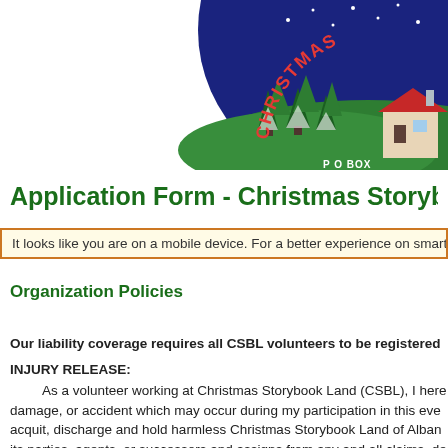[Figure (illustration): Christmas Storybook Land logo — circular badge with night sky, snow-covered trees, a red-roofed building, text 'CHRISTMAS' in red arc, 'P O BOX' visible at bottom]
Application Form - Christmas Storyb
It looks like you are on a mobile device. For a better experience on smart pho
Organization Policies
Our liability coverage requires all CSBL volunteers to be registered
INJURY RELEASE:
        As a volunteer working at Christmas Storybook Land (CSBL), I here damage, or accident which may occur during my participation in this eve acquit, discharge and hold harmless Christmas Storybook Land of Alban its parties, agents, or successors and assigns from any and all claims, de any nature arising from or in any way connected with Christmas Storybo